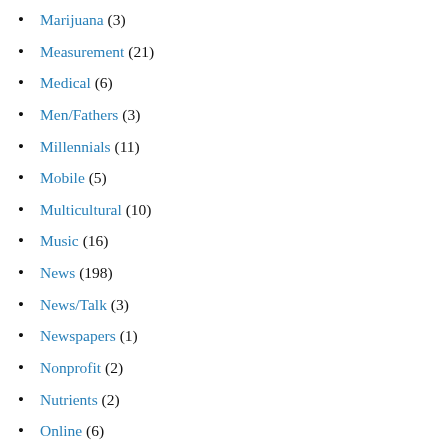Marijuana (3)
Measurement (21)
Medical (6)
Men/Fathers (3)
Millennials (11)
Mobile (5)
Multicultural (10)
Music (16)
News (198)
News/Talk (3)
Newspapers (1)
Nonprofit (2)
Nutrients (2)
Online (6)
online audio (9)
Optimum Effective Schedules (1)